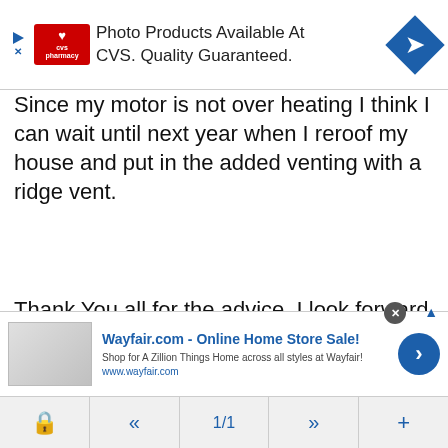[Figure (screenshot): CVS Pharmacy advertisement banner: 'Photo Products Available At CVS. Quality Guaranteed.']
Since my motor is not over heating I think I can wait until next year when I reroof my house and put in the added venting with a ridge vent.
Thank You all for the advice. I look forward to coming backwith more problems in the future for advice.
ADVERTISEMENT
[Figure (screenshot): Wayfair.com advertisement banner: 'Wayfair.com - Online Home Store Sale! Shop for A Zillion Things Home across all styles at Wayfair! www.wayfair.com']
1/1